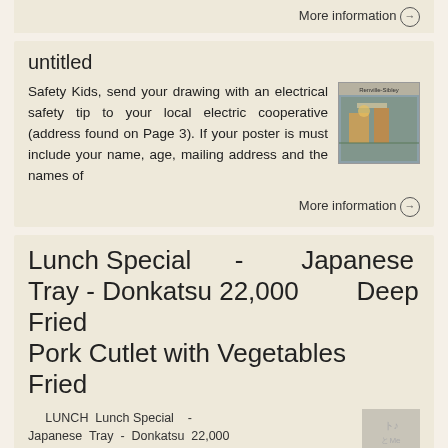More information →
untitled
Safety Kids, send your drawing with an electrical safety tip to your local electric cooperative (address found on Page 3). If your poster is must include your name, age, mailing address and the names of
[Figure (photo): Photo with Renville-Sibley label showing people working]
More information →
Lunch Special - Japanese Tray - Donkatsu 22,000 Deep Fried Pork Cutlet with Vegetables Fried
LUNCH Lunch Special - Japanese Tray - Donkatsu 22,000 Deep Fried Pork Cutlet with Vegetables Fried Tofu Kobachi Jacky Curry Miso Soup and Koshihikari Steamed
[Figure (photo): Blurred food photo]